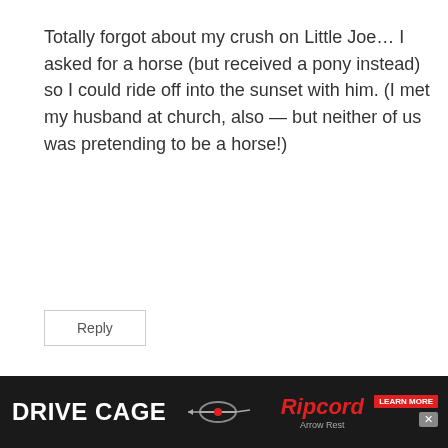Totally forgot about my crush on Little Joe… I asked for a horse (but received a pony instead) so I could ride off into the sunset with him. (I met my husband at church, also — but neither of us was pretending to be a horse!)
Reply
Sharon says:
February 11, 2013 at 6:42 pm
Ahh yes, I remember it well — Sunday nights and Little Joe… [text continues]
[Figure (other): Advertisement banner at bottom of page: Drive Cage product ad for Ripcord Arrow Rest, showing bow-mounted product image on dark background with LEARN MORE button and close button]